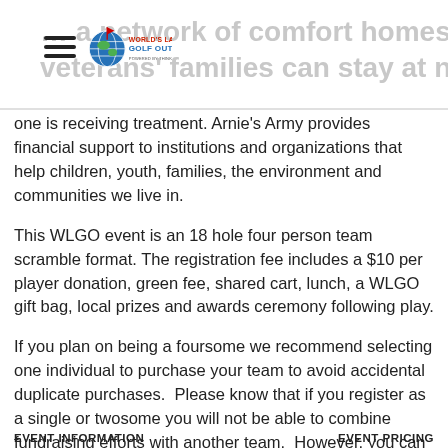World's Largest Golf Outing logo and navigation header
... a network of comfort homes where military and veterans' families can stay at no cost while a loved one is receiving treatment. Arnie's Army provides financial support to institutions and organizations that help children, youth, families, the environment and communities we live in.
This WLGO event is an 18 hole four person team scramble format. The registration fee includes a $10 per player donation, green fee, shared cart, lunch, a WLGO gift bag, local prizes and awards ceremony following play.
If you plan on being a foursome we recommend selecting one individual to purchase your team to avoid accidental duplicate purchases.  Please know that if you register as a single or twosome you will not be able to combine fundraising efforts with another team.  However, you can request to be paired together for playing purposes.
EVENT INFORMATION    EVENT PRICING